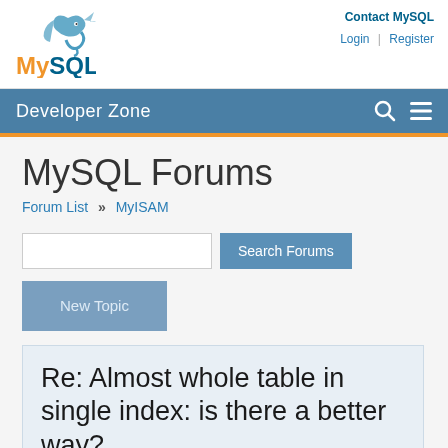Contact MySQL | Login | Register
[Figure (logo): MySQL logo with dolphin icon, 'My' in orange and 'SQL' in dark blue]
Developer Zone
MySQL Forums
Forum List » MyISAM
Search Forums
New Topic
Re: Almost whole table in single index: is there a better way?